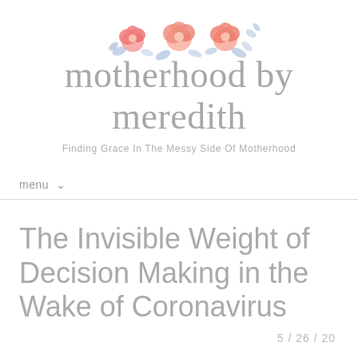[Figure (illustration): Watercolor floral arrangement with pink and coral ranunculus flowers and blue-purple foliage accents, centered above the blog title]
motherhood by meredith
Finding Grace In The Messy Side Of Motherhood
menu ∨
The Invisible Weight of Decision Making in the Wake of Coronavirus
5 / 26 / 20